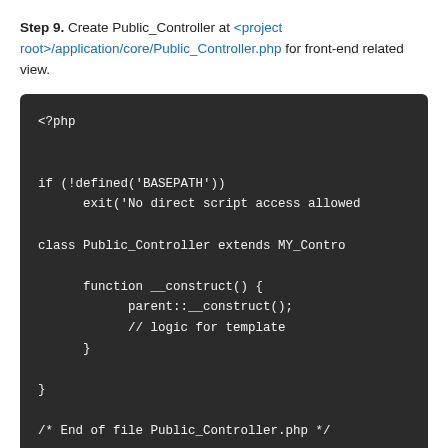Step 9. Create Public_Controller at <project root>/application/core/Public_Controller.php for front-end related view.
[Figure (screenshot): Dark-themed code block showing PHP code for Public_Controller class extending MY_Controller with constructor calling parent::__construct() and comment for logic for template, ending with End of file comment.]